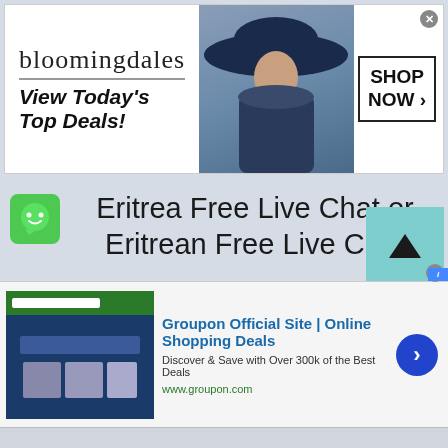[Figure (screenshot): Bloomingdale's advertisement banner with logo, 'View Today's Top Deals!' tagline, model in hat, and 'SHOP NOW >' button]
Eritrea Free Live Chat or Eritrean Free Live Chat
[Figure (screenshot): Groupon Official Site ad with thumbnail, title 'Groupon Official Site | Online Shopping Deals', description 'Discover & Save with Over 300k of the Best Deals', URL www.groupon.com, and blue arrow button]